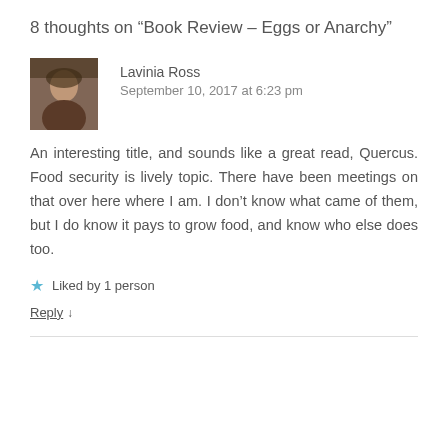8 thoughts on “Book Review – Eggs or Anarchy”
Lavinia Ross
September 10, 2017 at 6:23 pm
An interesting title, and sounds like a great read, Quercus. Food security is lively topic. There have been meetings on that over here where I am. I don’t know what came of them, but I do know it pays to grow food, and know who else does too.
Liked by 1 person
Reply ↓